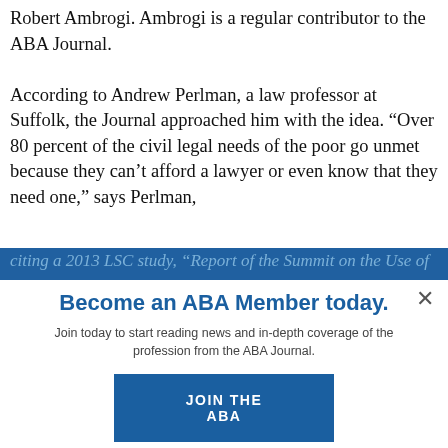Robert Ambrogi. Ambrogi is a regular contributor to the ABA Journal.
According to Andrew Perlman, a law professor at Suffolk, the Journal approached him with the idea. “Over 80 percent of the civil legal needs of the poor go unmet because they can’t afford a lawyer or even know that they need one,” says Perlman,
citing a 2013 LSC study, “Report of the Summit on the Use of
Become an ABA Member today.
Join today to start reading news and in-depth coverage of the profession from the ABA Journal.
JOIN THE ABA
Already an ABA Member? Sign in
systems to assist attorneys and legal services providers. Additionally, the report singled out mobile devices as a means